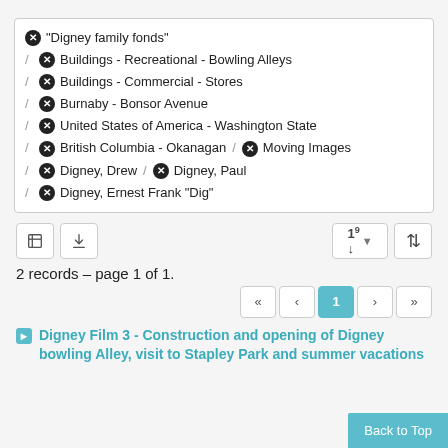"Digney family fonds"
/ Buildings - Recreational - Bowling Alleys
/ Buildings - Commercial - Stores
/ Burnaby - Bonsor Avenue
/ United States of America - Washington State
/ British Columbia - Okanagan / Moving Images
/ Digney, Drew / Digney, Paul
/ Digney, Ernest Frank "Dig"
2 records – page 1 of 1.
Digney Film 3 - Construction and opening of Digney bowling Alley, visit to Stapley Park and summer vacations